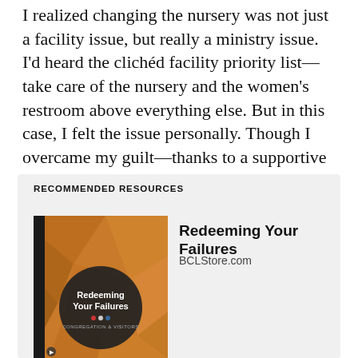I realized changing the nursery was not just a facility issue, but really a ministry issue. I'd heard the clichéd facility priority list—take care of the nursery and the women's restroom above everything else. But in this case, I felt the issue personally. Though I overcame my guilt—thanks to a supportive wife—I intensified my zeal to address the nursery issue.
RECOMMENDED RESOURCES
[Figure (illustration): Book cover for 'Redeeming Your Failures' — orange geometric polygon background with a dark circle containing white text 'Redeeming Your Failures' and subtitle 'Congregation & Visitors']
Redeeming Your Failures
BCLStore.com